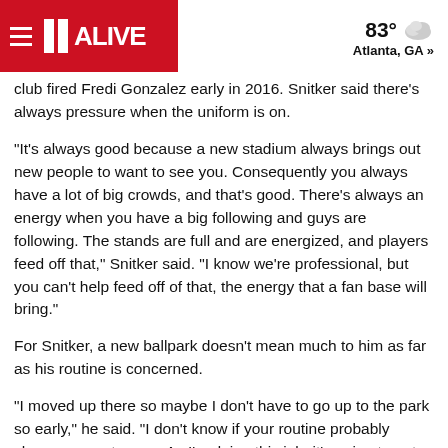11 ALIVE | 83° Atlanta, GA »
club fired Fredi Gonzalez early in 2016. Snitker said there's always pressure when the uniform is on.
"It's always good because a new stadium always brings out new people to want to see you. Consequently you always have a lot of big crowds, and that's good. There's always an energy when you have a big following and guys are following. The stands are full and are energized, and players feed off that," Snitker said. "I know we're professional, but you can't help feed off of that, the energy that a fan base will bring."
For Snitker, a new ballpark doesn't mean much to him as far as his routine is concerned.
"I moved up there so maybe I don't have to go up to the park so early," he said. "I don't know if your routine probably changes year to year. As I'm doing this job, it's going to get different and different, too."